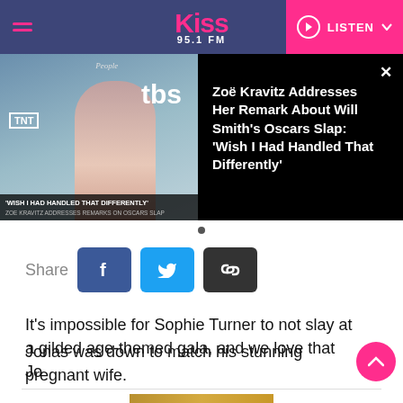Kiss 95.1 FM — LISTEN
[Figure (screenshot): Banner showing Zoë Kravitz with TBS and TNT logos, overlay text about Oscar Slap remark]
Zoë Kravitz Addresses Her Remark About Will Smith's Oscars Slap: 'Wish I Had Handled That Differently'
Share
It's impossible for Sophie Turner to not slay at a gilded age-themed gala, and we love that Joe Jonas was down to match his stunning pregnant wife.